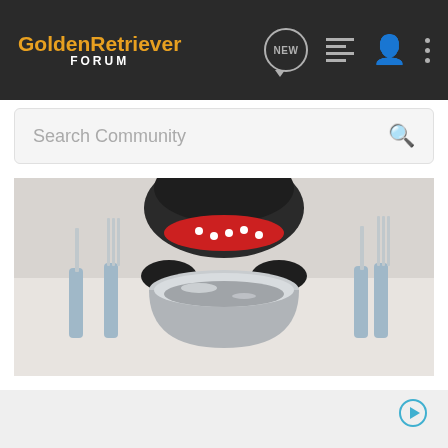GoldenRetriever FORUM — navigation bar with logo, NEW, list, person, and menu icons
Search Community
[Figure (photo): A dark-colored dog wearing a red polka-dot collar/bow, leaning over a stainless steel food bowl on a white surface, with a knife and fork on either side.]
[Figure (other): Light gray advertisement area with a small play button icon in the lower right corner.]